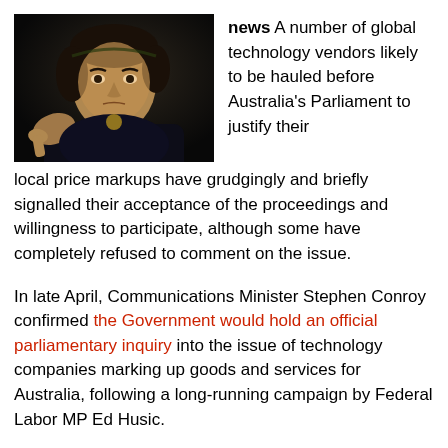[Figure (photo): Dark portrait photo of a young man with dark hair wearing dark clothing, giving a thumbs down gesture]
news A number of global technology vendors likely to be hauled before Australia's Parliament to justify their local price markups have grudgingly and briefly signalled their acceptance of the proceedings and willingness to participate, although some have completely refused to comment on the issue.
In late April, Communications Minister Stephen Conroy confirmed the Government would hold an official parliamentary inquiry into the issue of technology companies marking up goods and services for Australia, following a long-running campaign by Federal Labor MP Ed Husic.
Husic (pictured right) has been raising the issue in Parliament